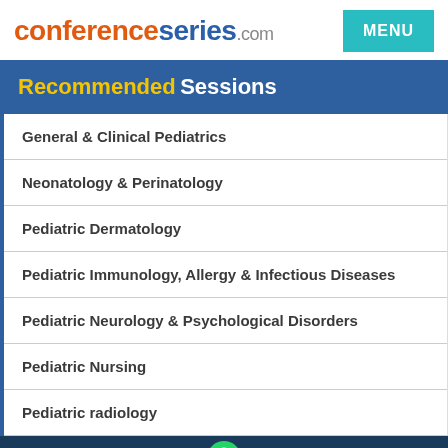conferenceseries.com
Recommended Sessions
General & Clinical Pediatrics
Neonatology & Perinatology
Pediatric Dermatology
Pediatric Immunology, Allergy & Infectious Diseases
Pediatric Neurology & Psychological Disorders
Pediatric Nursing
Pediatric radiology
Pediatric Cardiol...